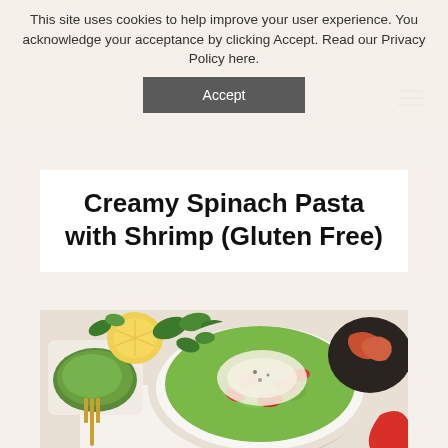This site uses cookies to help improve your user experience. You acknowledge your acceptance by clicking Accept. Read our Privacy Policy here.
[Figure (screenshot): Accept button for cookie consent banner]
[Figure (logo): Myth & Honey Nutrition logo with decorative lines and text]
Creamy Spinach Pasta with Shrimp (Gluten Free)
[Figure (photo): Overhead food photo of creamy spinach rotini pasta with shrimp, red bell peppers, topped with grated parmesan. Bowl surrounded by lemon, basil, green spinach sauce in a dish, gold fork, and shrimp on a dark plate.]